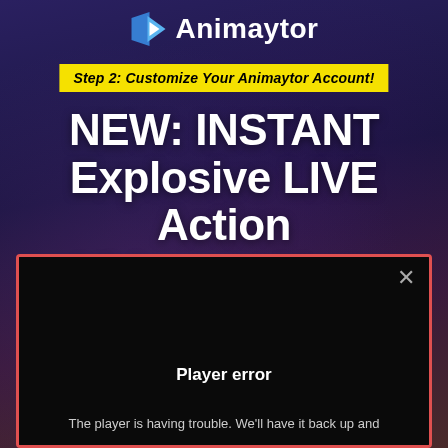[Figure (logo): Animaytor logo with blue play button triangle icon and white text 'Animaytor']
Step 2: Customize Your Animaytor Account!
NEW: INSTANT Explosive LIVE Action Videos at Your Fingertips
[Figure (screenshot): Video player with red/pink border showing black screen with a close X button, 'Player error' heading, and partial message 'The player is having trouble. We'll have it back up and']